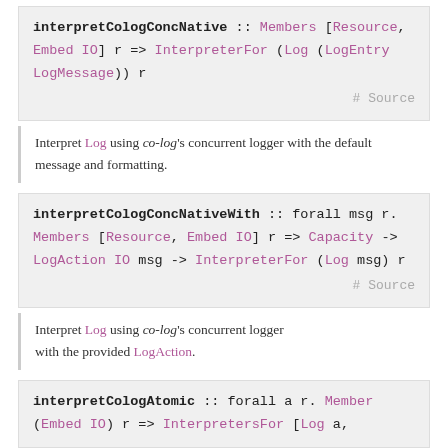interpretCologConcNative :: Members [Resource, Embed IO] r => InterpreterFor (Log (LogEntry LogMessage)) r   # Source
Interpret Log using co-log's concurrent logger with the default message and formatting.
interpretCologConcNativeWith :: forall msg r. Members [Resource, Embed IO] r => Capacity -> LogAction IO msg -> InterpreterFor (Log msg) r   # Source
Interpret Log using co-log's concurrent logger with the provided LogAction.
interpretCologAtomic :: forall a r. Member (Embed IO) r => InterpretersFor [Log a,